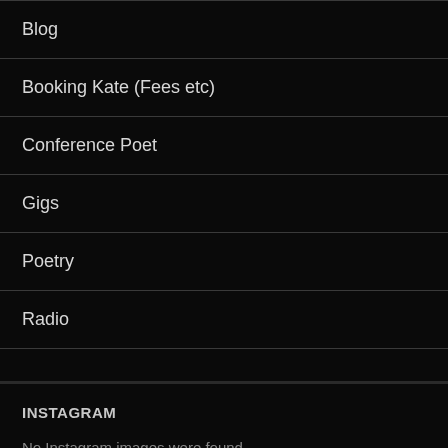Blog
Booking Kate (Fees etc)
Conference Poet
Gigs
Poetry
Radio
INSTAGRAM
No Instagram images were found.